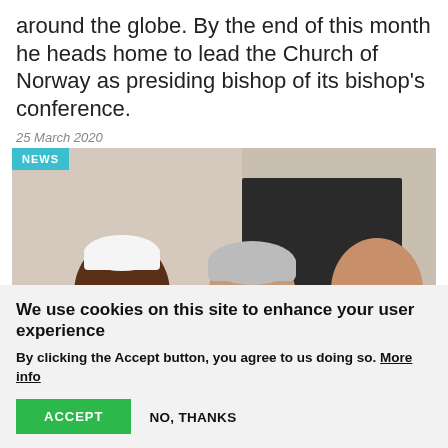around the globe. By the end of this month he heads home to lead the Church of Norway as presiding bishop of its bishop's conference.
25 March 2020
[Figure (photo): Photo showing three men in conversation: one wearing a white cap and white robe (Muslim cleric), one in white bishop vestments (Christian bishop), and one in orange robes (Buddhist monk). A NEWS badge overlays the top-left corner.]
We use cookies on this site to enhance your user experience
By clicking the Accept button, you agree to us doing so. More info
ACCEPT
NO, THANKS